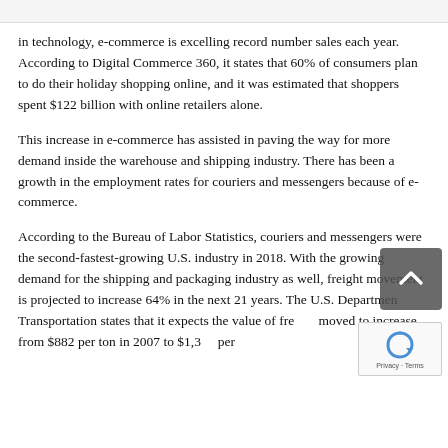in technology, e-commerce is excelling record number sales each year. According to Digital Commerce 360, it states that 60% of consumers plan to do their holiday shopping online, and it was estimated that shoppers spent $122 billion with online retailers alone.
This increase in e-commerce has assisted in paving the way for more demand inside the warehouse and shipping industry. There has been a growth in the employment rates for couriers and messengers because of e-commerce.
According to the Bureau of Labor Statistics, couriers and messengers were the second-fastest-growing U.S. industry in 2018. With the growing demand for the shipping and packaging industry as well, freight movement is projected to increase 64% in the next 21 years. The U.S. Department of Transportation states that it expects the value of freight moved to increase from $882 per ton in 2007 to $1,3[…] per